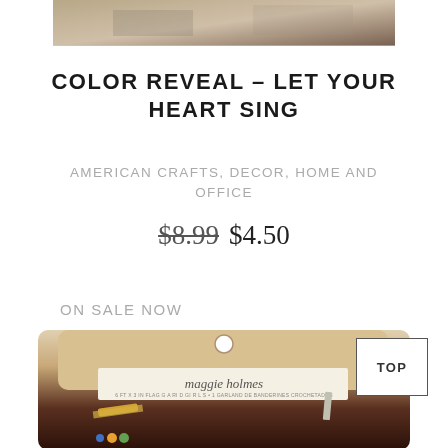[Figure (photo): Product image at top of page showing a partially visible craft/paper product with brown/tan tones]
COLOR REVEAL – LET YOUR HEART SING
AMERICAN CRAFTS, DECOR, HOME AND OFFICE
$8.99  $4.50
ON SALE NOW
[Figure (photo): Product packaging image showing Maggie Holmes brand craft garland/banner product in brown kraft paper packaging with hang hole and brand label]
TOP